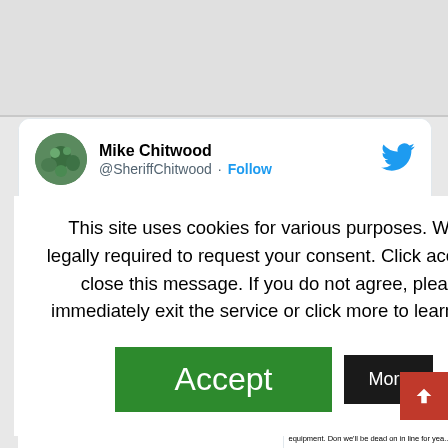[Figure (screenshot): Top gray blank area of a webpage]
[Figure (screenshot): Twitter/X post by Mike Chitwood (@SheriffChitwood) with a Follow button and Twitter bird logo. Partially visible tweet text about County Council and protecting something. A cookie consent overlay covers most of the tweet content. The overlay reads: 'This site uses cookies for various purposes. We're legally required to request your consent. Click accept to close this message. If you do not agree, please immediately exit the service or click more to learn why.' with Accept (green) and More (black) buttons. A dark screenshot image is partially visible. Bottom shows truncated tweet text.]
Mike Chitwood
@SheriffChitwood · Follow
This site uses cookies for various purposes. We're legally required to request your consent. Click accept to close this message. If you do not agree, please immediately exit the service or click more to learn why.
Accept
More